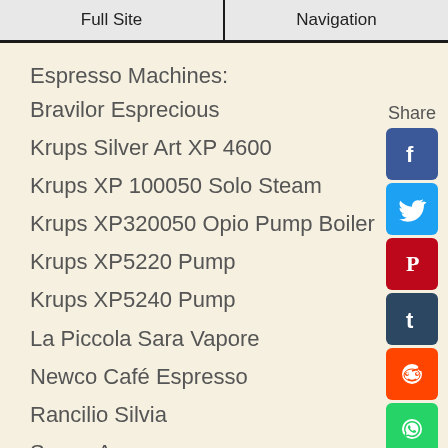Full Site | Navigation
Espresso Machines:
Bravilor Esprecious
Krups Silver Art XP 4600
Krups XP 100050 Solo Steam
Krups XP320050 Opio Pump Boiler
Krups XP5220 Pump
Krups XP5240 Pump
La Piccola Sara Vapore
Newco Café Espresso
Rancilio Silvia
Saeco Aroma
Saeco Via Venezia
Other Coffee Brewers:
Bravilor Freshmore 221
Colibri LX